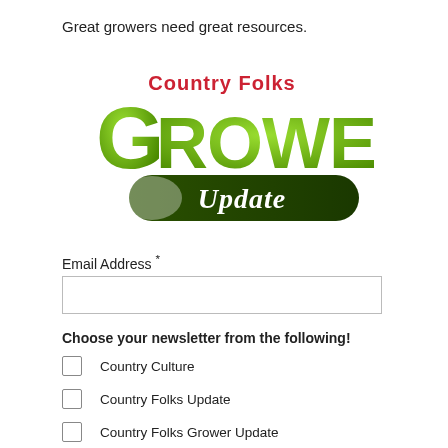Great growers need great resources.
[Figure (logo): Country Folks Grower Update logo — large green stylized 'GROWER' text with 'Country Folks' in red above, and 'Update' in white italic on a dark green banner below]
Email Address *
Choose your newsletter from the following!
Country Culture
Country Folks Update
Country Folks Grower Update
Wine & Craft Beverage News Update
Back Road Boards Newsletter (partial)